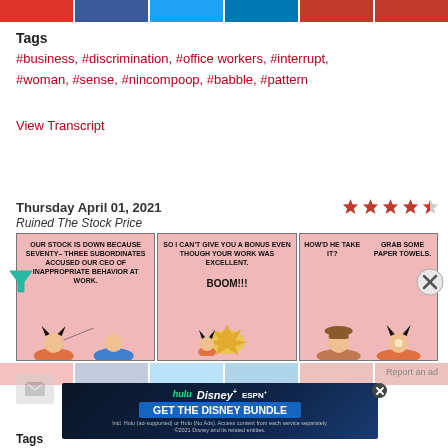[Figure (other): Social media share buttons bar at top (Google+, Facebook, Twitter, LinkedIn, and two red buttons)]
Tags
#business, #discrimination, #office workers, #interrupt, #woman, #sense, #nincompoop, #babble, #pattern
View Transcript
Thursday April 01, 2021
Ruined The Stock Price
[Figure (other): Four and a half star rating]
[Figure (illustration): Dilbert comic strip with three panels. Panel 1: Boss says 'OUR STOCK IS DOWN BECAUSE SEVENTY-THREE SUBORDINATES ACCUSED OUR CEO OF INAPPROPRIATE BEHAVIOR AT WORK.' Panel 2: Boss says 'SO I CAN'T GIVE YOU A BONUS EVEN THOUGH YOUR WORK WAS EXCELLENT.' with BOOM!!! explosion. Panel 3: Characters ask 'HOW'D HE TAKE IT?' and reply 'GRAB SOME PAPER TOWELS.']
[Figure (other): Filter icon overlay (teal triangle/funnel shape)]
[Figure (other): Close/X icon overlay on right side]
[Figure (other): Faded social share bar and email icon]
Report an ad
[Figure (other): Disney Bundle advertisement banner: hulu Disney+ ESPN+ GET THE DISNEY BUNDLE. Incl. Hulu (ad-supported) or Hulu (No Ads). Access content from each service separately. ©2021 Disney and its related entities.]
Tags
#business, #technology, #stock, #subordinate...